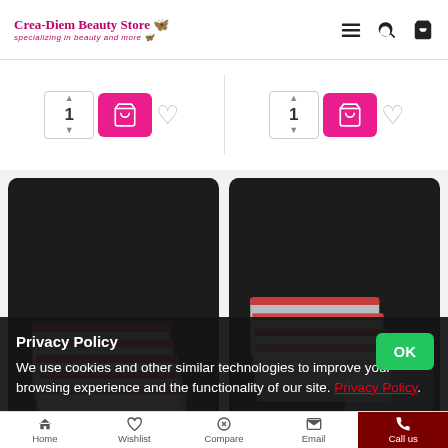Crea-Diem Beauty Store — specializing in beauty and more
[Figure (screenshot): Add to cart strip with quantity selector (1), pink cart button, and heart wishlist icon — two columns for two products]
[Figure (photo): Stack of small transparent resealable plastic zip-lock bags with red stripe closures on dark background]
[Figure (photo): Stack of small transparent resealable plastic zip-lock bags with red stripe closures plus one larger clear bag on dark background]
Privacy Policy
We use cookies and other similar technologies to improve your browsing experience and the functionality of our site. Privacy Policy.
Home   Wishlist   Compare   Email   Call us